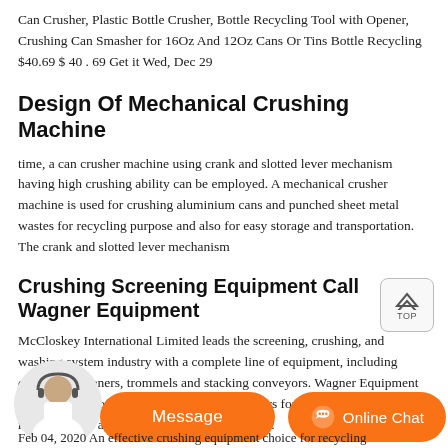Can Crusher, Plastic Bottle Crusher, Bottle Recycling Tool with Opener, Crushing Can Smasher for 16Oz And 12Oz Cans Or Tins Bottle Recycling $40.69 $ 40 . 69 Get it Wed, Dec 29
Design Of Mechanical Crushing Machine
time, a can crusher machine using crank and slotted lever mechanism having high crushing ability can be employed. A mechanical crusher machine is used for crushing aluminium cans and punched sheet metal wastes for recycling purpose and also for easy storage and transportation. The crank and slotted lever mechanism
Crushing Screening Equipment Call Wagner Equipment
McCloskey International Limited leads the screening, crushing, and washing system industry with a complete line of equipment, including crushers, screeners, trommels and stacking conveyors. Wagner Equipment Co is proud to offer their crushers and screeners for your construction, recycling, and agricultural needs. Call us today.
[Figure (other): Customer service chat widget with avatar, Message button, and Online Chat button in orange]
Feb 04, 2020 An effective crushing equipment choice for recycling